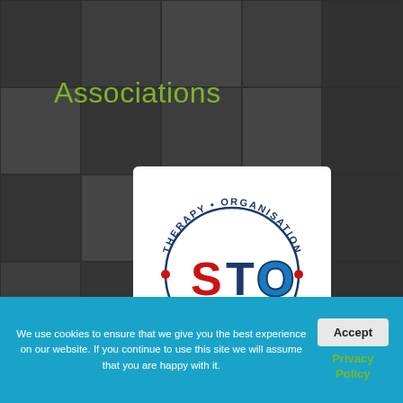Associations
[Figure (logo): Sports Therapy Organisation (STO) circular logo with red and blue lettering on white background]
We use cookies to ensure that we give you the best experience on our website. If you continue to use this site we will assume that you are happy with it.
Accept
Privacy Policy